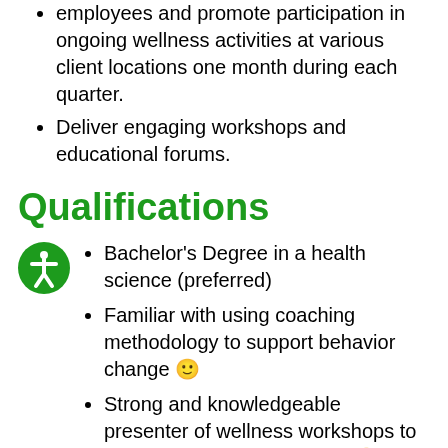employees and promote participation in ongoing wellness activities at various client locations one month during each quarter.
Deliver engaging workshops and educational forums.
Qualifications
Bachelor's Degree in a health science (preferred)
Familiar with using coaching methodology to support behavior change 🙂
Strong and knowledgeable presenter of wellness workshops to groups and enjoys doing so 🙂
Experience measuring biometrics a plus (manual blood pressure, finger